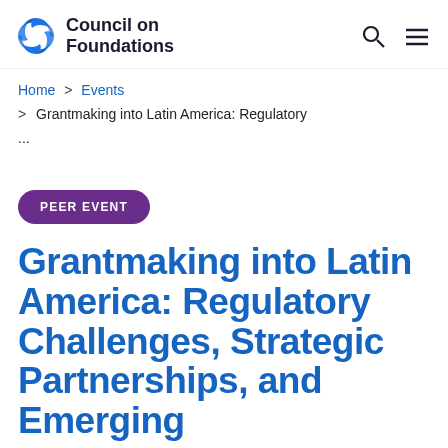[Figure (logo): Council on Foundations logo with pinwheel icon and text 'Council on Foundations']
Council on Foundations
Home > Events > Grantmaking into Latin America: Regulatory ...
PEER EVENT
Grantmaking into Latin America: Regulatory Challenges, Strategic Partnerships, and Emerging